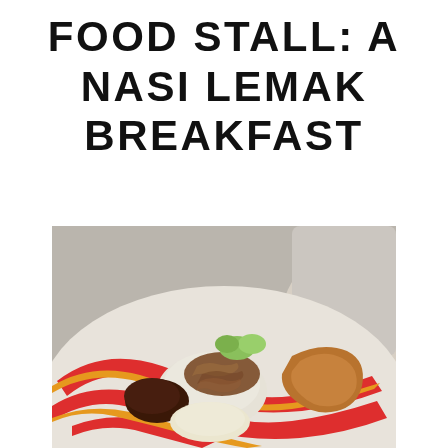FOOD STALL: A NASI LEMAK BREAKFAST
[Figure (photo): A plate of nasi lemak with fried anchovies (ikan bilis), sambal, rice, egg, cucumber slices, and fried chicken on a colorful red, orange, and white striped plate.]